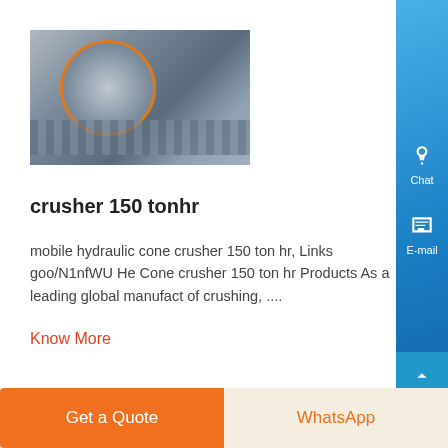[Figure (photo): Industrial cone crusher machine, metallic heavy equipment with circular crushing components]
crusher 150 tonhr
mobile hydraulic cone crusher 150 ton hr, Links goo/N1nfWU He Cone crusher 150 ton hr Products As a leading global manufact of crushing, ....
Know More